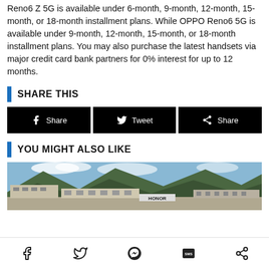Reno6 Z 5G is available under 6-month, 9-month, 12-month, 15-month, or 18-month installment plans. While OPPO Reno6 5G is available under 9-month, 12-month, 15-month, or 18-month installment plans. You may also purchase the latest handsets via major credit card bank partners for 0% interest for up to 12 months.
SHARE THIS
[Figure (other): Three social share buttons: Facebook Share, Twitter Tweet, Generic Share]
YOU MIGHT ALSO LIKE
[Figure (photo): Photo of a building with mountains in the background and an HONOR sign]
Bottom navigation bar with social sharing icons: Facebook, Twitter, Messenger, SMS, Share